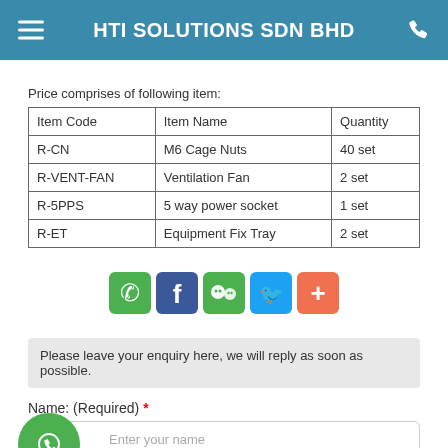HTI SOLUTIONS SDN BHD
Price comprises of following item:
| Item Code | Item Name | Quantity |
| --- | --- | --- |
| R-CN | M6 Cage Nuts | 40 set |
| R-VENT-FAN | Ventilation Fan | 2 set |
| R-5PPS | 5 way power socket | 1 set |
| R-ET | Equipment Fix Tray | 2 set |
[Figure (infographic): Social sharing icons row: WhatsApp (green), Facebook (dark blue), WeChat (green), Twitter (light blue), More/Add (orange-red)]
Please leave your enquiry here, we will reply as soon as possible.
Name: (Required) *
Enter your name
Company Name: